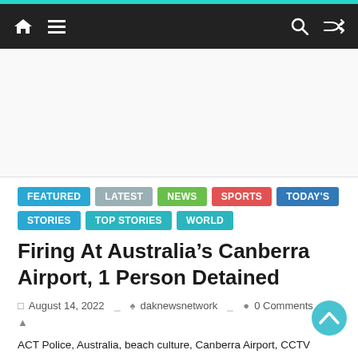Navigation bar with home, menu, search, and shuffle icons
[Figure (other): Advertisement area (blank)]
FEATURED
Latest
News
Sports
TODAY'S STORIES
TOP STORIES
WORLD
Firing At Australia’s Canberra Airport, 1 Person Detained
August 14, 2022  daknewsnetwork  0 Comments
ACT Police, Australia, beach culture, Canberra Airport, CCTV footage, firing, public safety, resume flights, Sydney, western suburb